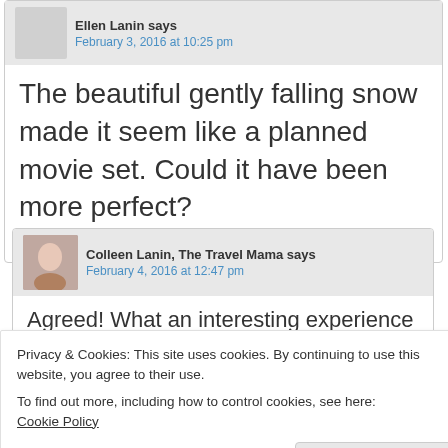Ellen Lanin says
February 3, 2016 at 10:25 pm
The beautiful gently falling snow made it seem like a planned movie set. Could it have been more perfect?
Reply
Colleen Lanin, The Travel Mama says
February 4, 2016 at 12:47 pm
Agreed! What an interesting experience
Privacy & Cookies: This site uses cookies. By continuing to use this website, you agree to their use.
To find out more, including how to control cookies, see here:
Cookie Policy
Close and accept
Speak Your Mind